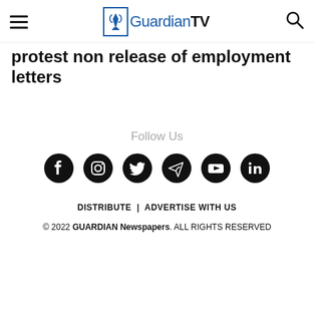GuardianTV
protest non release of employment letters
Follow Us
[Figure (other): Social media icons row: Facebook, Instagram, Twitter, Telegram, YouTube, LinkedIn]
DISTRIBUTE | ADVERTISE WITH US
© 2022 GUARDIAN Newspapers. ALL RIGHTS RESERVED